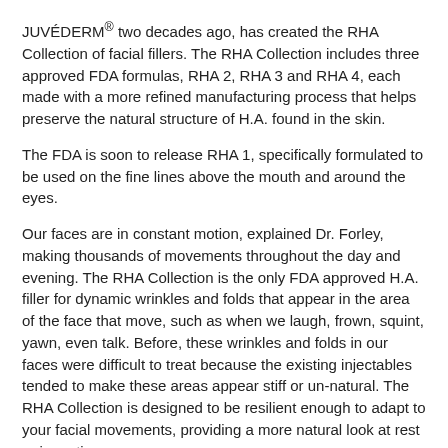JUVÉDERM® two decades ago, has created the RHA Collection of facial fillers. The RHA Collection includes three approved FDA formulas, RHA 2, RHA 3 and RHA 4, each made with a more refined manufacturing process that helps preserve the natural structure of H.A. found in the skin.
The FDA is soon to release RHA 1, specifically formulated to be used on the fine lines above the mouth and around the eyes.
Our faces are in constant motion, explained Dr. Forley, making thousands of movements throughout the day and evening. The RHA Collection is the only FDA approved H.A. filler for dynamic wrinkles and folds that appear in the area of the face that move, such as when we laugh, frown, squint, yawn, even talk. Before, these wrinkles and folds in our faces were difficult to treat because the existing injectables tended to make these areas appear stiff or un-natural. The RHA Collection is designed to be resilient enough to adapt to your facial movements, providing a more natural look at rest or in motion.